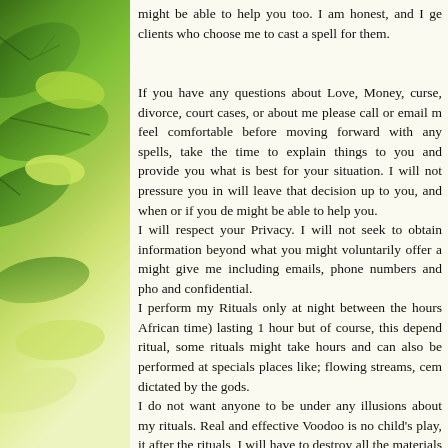[Figure (photo): Green leaves/foliage on the left sidebar with a gradient from dark green at top to light yellow-green at bottom]
might be able to help you too. I am honest, and I get clients who choose me to cast a spell for them.

If you have any questions about Love, Money, curse, divorce, court cases, or about me please call or email me feel comfortable before moving forward with any spells, take the time to explain things to you and provide you what is best for your situation. I will not pressure you in will leave that decision up to you, and when or if you decide might be able to help you.
I will respect your Privacy. I will not seek to obtain information beyond what you might voluntarily offer and might give me including emails, phone numbers and phone and confidential.
I perform my Rituals only at night between the hours African time) lasting 1 hour but of course, this depends ritual, some rituals might take hours and can also be performed at specials places like; flowing streams, cemeteries dictated by the gods.
I do not want anyone to be under any illusions about my rituals. Real and effective Voodoo is no child's play, it after the rituals, I will have to destroy all the materials ashes scattered over a flowing stream or river.